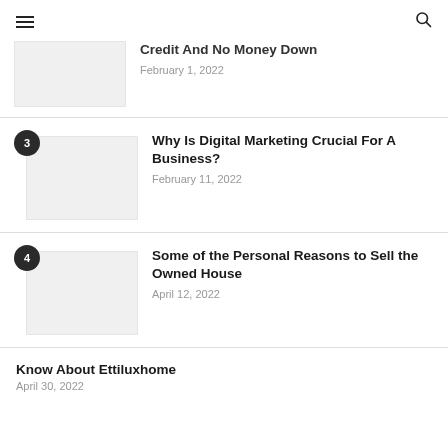≡  🔍
Credit And No Money Down
February 1, 2022
Why Is Digital Marketing Crucial For A Business?
February 11, 2022
Some of the Personal Reasons to Sell the Owned House
April 12, 2022
Know About Ettiluxhome
April 30, 2022